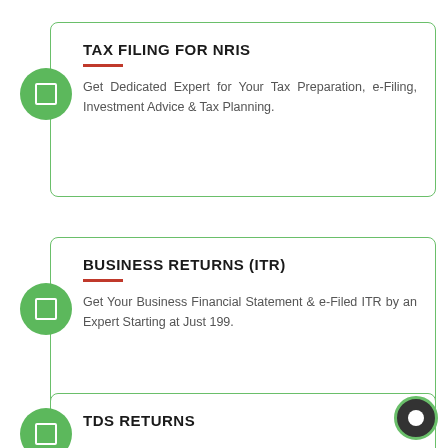TAX FILING FOR NRIS
Get Dedicated Expert for Your Tax Preparation, e-Filing, Investment Advice & Tax Planning.
BUSINESS RETURNS (ITR)
Get Your Business Financial Statement & e-Filed ITR by an Expert Starting at Just 199.
TDS RETURNS